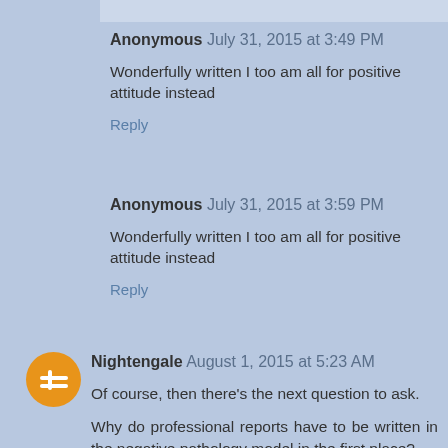Anonymous July 31, 2015 at 3:49 PM
Wonderfully written I too am all for positive attitude instead
Reply
Anonymous July 31, 2015 at 3:59 PM
Wonderfully written I too am all for positive attitude instead
Reply
Nightengale August 1, 2015 at 5:23 AM
Of course, then there's the next question to ask.
Why do professional reports have to be written in the negative pathology model in the first place?
There are ways to document challenges and impairments (I do believe impairment is a useful term and concept - as a